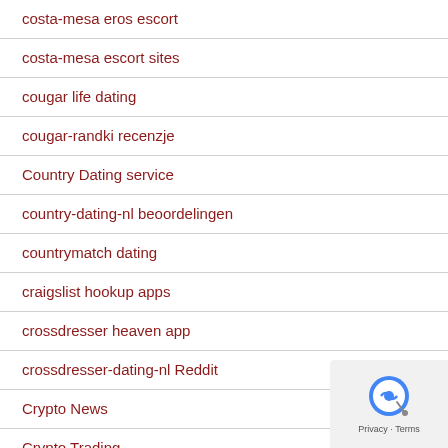costa-mesa eros escort
costa-mesa escort sites
cougar life dating
cougar-randki recenzje
Country Dating service
country-dating-nl beoordelingen
countrymatch dating
craigslist hookup apps
crossdresser heaven app
crossdresser-dating-nl Reddit
Crypto News
Crypto Trading